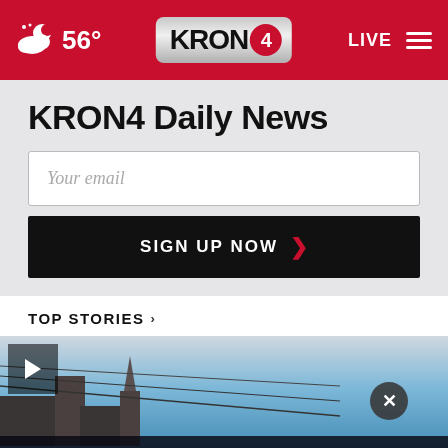56° KRON4 LIVE
KRON4 Daily News
Your email
SIGN UP NOW
TOP STORIES
[Figure (screenshot): News story thumbnail showing a building rooftop with power lines against a blue sky, with a play button overlay, a close (X) button, and a dark overlay banner reading SHE CAN STEM]